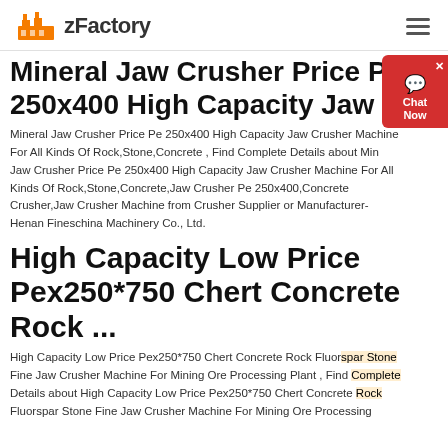zFactory
Mineral Jaw Crusher Price Pe 250x400 High Capacity Jaw ...
Mineral Jaw Crusher Price Pe 250x400 High Capacity Jaw Crusher Machine For All Kinds Of Rock,Stone,Concrete , Find Complete Details about Mineral Jaw Crusher Price Pe 250x400 High Capacity Jaw Crusher Machine For All Kinds Of Rock,Stone,Concrete,Jaw Crusher Pe 250x400,Concrete Crusher,Jaw Crusher Machine from Crusher Supplier or Manufacturer-Henan Fineschina Machinery Co., Ltd.
High Capacity Low Price Pex250*750 Chert Concrete Rock ...
High Capacity Low Price Pex250*750 Chert Concrete Rock Fluorspar Stone Fine Jaw Crusher Machine For Mining Ore Processing Plant , Find Complete Details about High Capacity Low Price Pex250*750 Chert Concrete Rock Fluorspar Stone Fine Jaw Crusher Machine For Mining Ore Processing